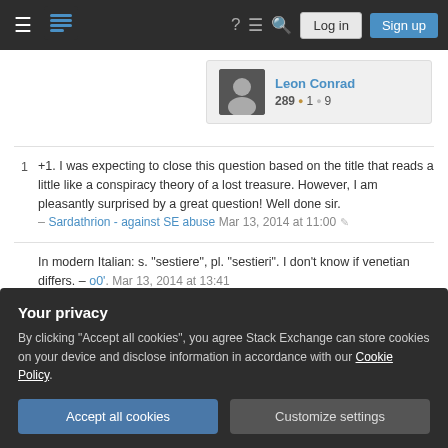Stack Exchange navigation bar with hamburger menu, logo, help, chat, search, Log in, Sign up buttons
Leon Conrad 289 • 1 • 9
+1. I was expecting to close this question based on the title that reads a little like a conspiracy theory of a lost treasure. However, I am pleasantly surprised by a great question! Well done sir. – Sardathrion - against SE abuse Mar 13, 2014 at 11:00
In modern Italian: s. "sestiere", pl. "sestieri". I don't know if venetian differs. – o0'. Mar 13, 2014 at 13:41
about the Emilia regions specifically). Also, native
Your privacy
By clicking "Accept all cookies", you agree Stack Exchange can store cookies on your device and disclose information in accordance with our Cookie Policy.
Accept all cookies   Customize settings